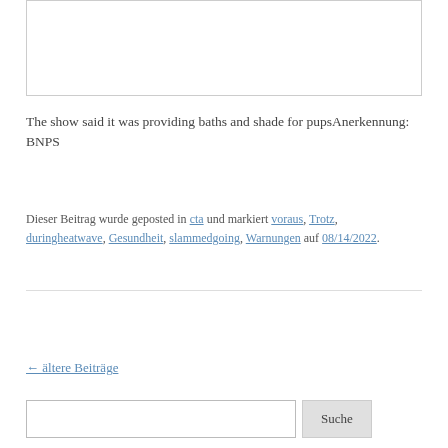[Figure (other): Bordered image box at top of page (content not visible)]
The show said it was providing baths and shade for pupsAnerkennung: BNPS
Dieser Beitrag wurde geposted in cta und markiert voraus, Trotz, duringheatwave, Gesundheit, slammedgoing, Warnungen auf 08/14/2022.
← ältere Beiträge